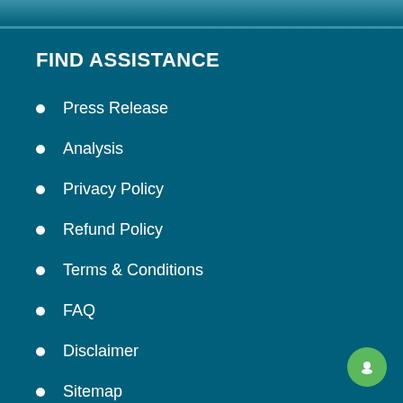FIND ASSISTANCE
Press Release
Analysis
Privacy Policy
Refund Policy
Terms & Conditions
FAQ
Disclaimer
Sitemap